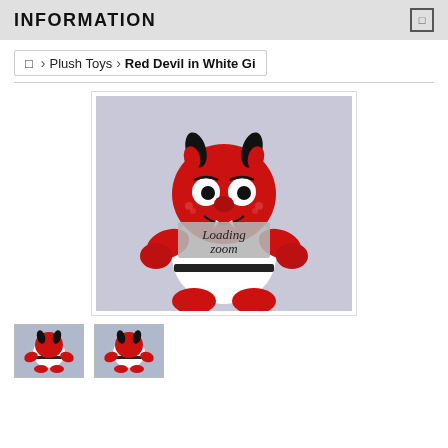INFORMATION
Plush Toys > Red Devil in White Gi
[Figure (photo): Red devil plush toy in a white gi (karate uniform) with black belt. The stuffed animal has a red body, black horns, fangs, and is seated. A 'Loading zoom' overlay appears on the image.]
[Figure (photo): Thumbnail 1: Red devil plush toy in white gi]
[Figure (photo): Thumbnail 2: Red devil plush toy in white gi, alternate view]